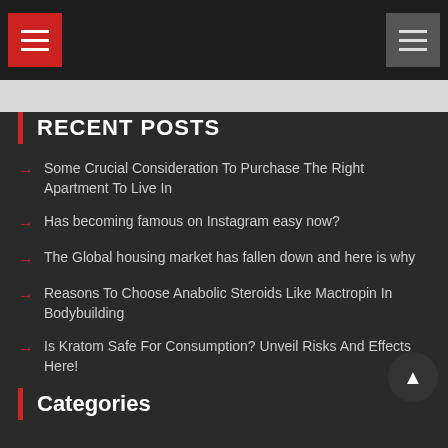Navigation bar with red hamburger menu icon and grey hamburger menu icon
RECENT POSTS
Some Crucial Consideration To Purchase The Right Apartment To Live In
Has becoming famous on Instagram easy now?
The Global housing market has fallen down and here is why
Reasons To Choose Anabolic Steroids Like Mactropin In Bodybuilding
Is Kratom Safe For Consumption? Unveil Risks And Effects Here!
Categories